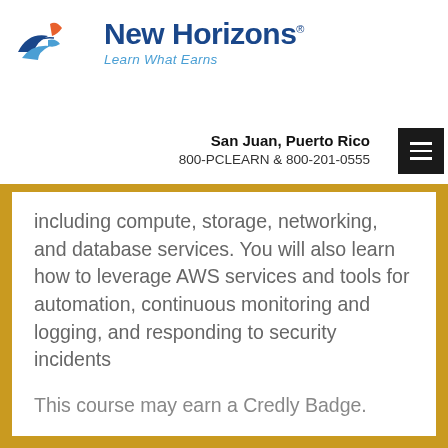[Figure (logo): New Horizons logo with wing/arrow emblem in blue and orange, company name in dark blue, tagline 'Learn What Earns' in light blue italic]
San Juan, Puerto Rico
800-PCLEARN  & 800-201-0555
including compute, storage, networking, and database services. You will also learn how to leverage AWS services and tools for automation, continuous monitoring and logging, and responding to security incidents
This course may earn a Credly Badge.